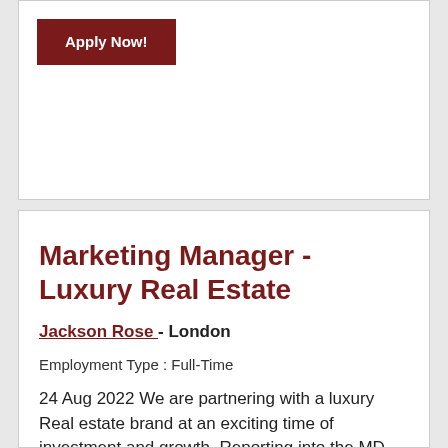Apply Now!
Marketing Manager - Luxury Real Estate
Jackson Rose - London
Employment Type : Full-Time
24 Aug 2022 We are partnering with a luxury Real estate brand at an exciting time of investment and growth. Reporting into the MD, the Marketing Manager will have a focus on developing integrated campaigns,